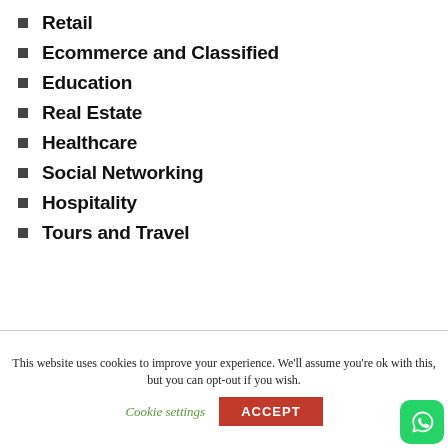Retail
Ecommerce and Classified
Education
Real Estate
Healthcare
Social Networking
Hospitality
Tours and Travel
This website uses cookies to improve your experience. We'll assume you're ok with this, but you can opt-out if you wish.
Cookie settings  ACCEPT